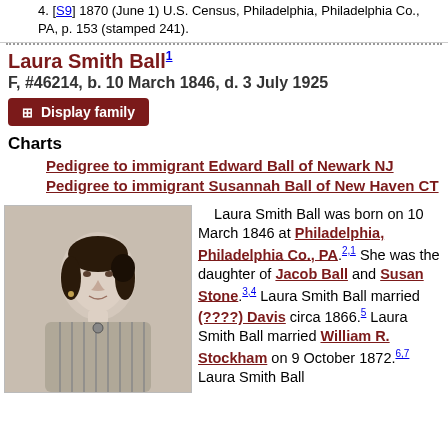4. [S9] 1870 (June 1) U.S. Census, Philadelphia, Philadelphia Co., PA, p. 153 (stamped 241).
Laura Smith Ball
F, #46214, b. 10 March 1846, d. 3 July 1925
Display family
Charts
Pedigree to immigrant Edward Ball of Newark NJ
Pedigree to immigrant Susannah Ball of New Haven CT
[Figure (photo): Black and white portrait photograph of Laura Smith Ball, a woman with dark hair pulled back, wearing a striped dress with a brooch]
Laura Smith Ball was born on 10 March 1846 at Philadelphia, Philadelphia Co., PA.2,1 She was the daughter of Jacob Ball and Susan Stone.3,4 Laura Smith Ball married (????) Davis circa 1866.5 Laura Smith Ball married William R. Stockham on 9 October 1872.6,7 Laura Smith Ball